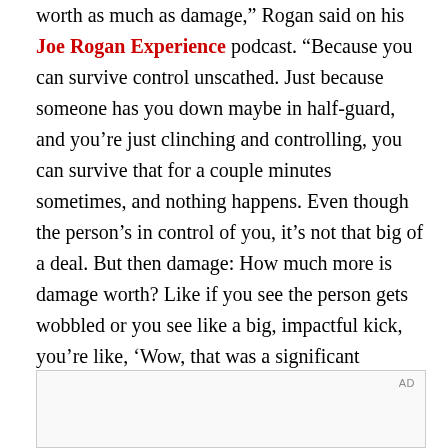worth as much as damage," Rogan said on his Joe Rogan Experience podcast. "Because you can survive control unscathed. Just because someone has you down maybe in half-guard, and you’re just clinching and controlling, you can survive that for a couple minutes sometimes, and nothing happens. Even though the person’s in control of you, it’s not that big of a deal. But then damage: How much more is damage worth? Like if you see the person gets wobbled or you see like a big, impactful kick, you’re like, ‘Wow, that was a significant moment in the fight. So that would be worth more.’ Instead of being attached to this system. It’s just not comprehensive enough, I don’t think."
[Figure (other): Advertisement placeholder box with AD label in top right corner]